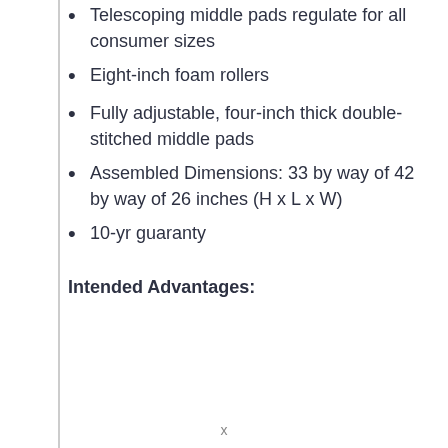Telescoping middle pads regulate for all consumer sizes
Eight-inch foam rollers
Fully adjustable, four-inch thick double-stitched middle pads
Assembled Dimensions: 33 by way of 42 by way of 26 inches (H x L x W)
10-yr guaranty
Intended Advantages: